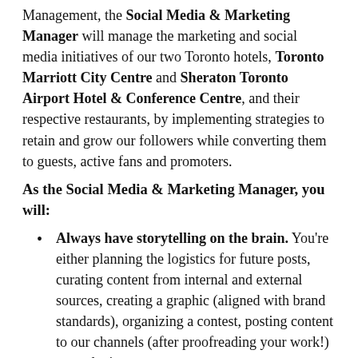Management, the Social Media & Marketing Manager will manage the marketing and social media initiatives of our two Toronto hotels, Toronto Marriott City Centre and Sheraton Toronto Airport Hotel & Conference Centre, and their respective restaurants, by implementing strategies to retain and grow our followers while converting them to guests, active fans and promoters.
As the Social Media & Marketing Manager, you will:
Always have storytelling on the brain. You're either planning the logistics for future posts, curating content from internal and external sources, creating a graphic (aligned with brand standards), organizing a contest, posting content to our channels (after proofreading your work!) or analyzing past posts.